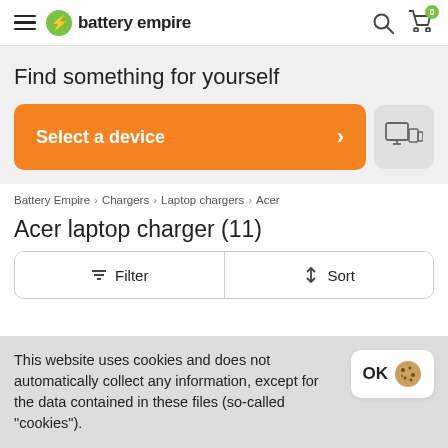battery empire
Find something for yourself
Select a device
Battery Empire > Chargers > Laptop chargers > Acer
Acer laptop charger (11)
Filter   Sort
This website uses cookies and does not automatically collect any information, except for the data contained in these files (so-called "cookies").